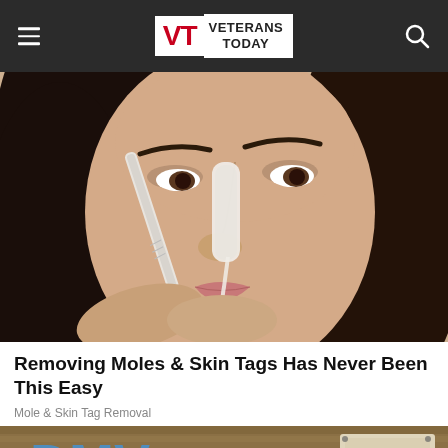Veterans Today
[Figure (photo): Woman applying white cream or treatment to her nose using a small brush/spatula tool. Close-up portrait with dark hair.]
Removing Moles & Skin Tags Has Never Been This Easy
Mole & Skin Tag Removal
[Figure (photo): Partial image of a DMV sign on a wooden background.]